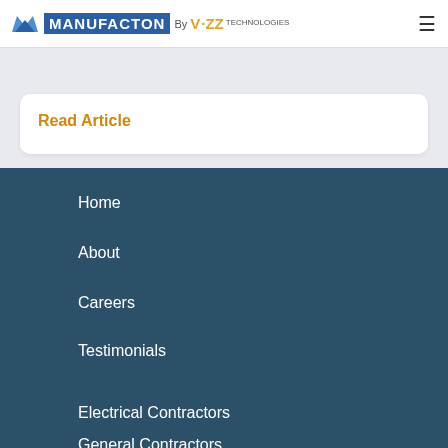MANUFACTON By VIZZ TECHNOLOGIES
Read Article
Home
About
Careers
Testimonials
Electrical Contractors
General Contractors